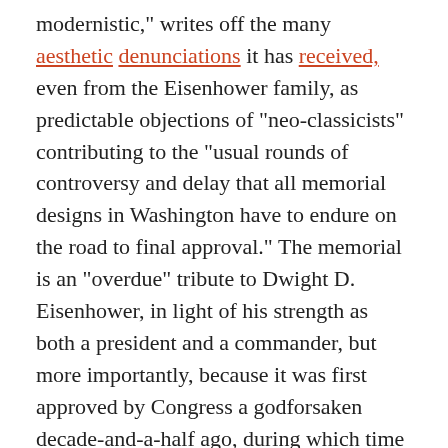modernistic," writes off the many aesthetic denunciations it has received, even from the Eisenhower family, as predictable objections of "neo-classicists" contributing to the "usual rounds of controversy and delay that all memorial designs in Washington have to endure on the road to final approval." The memorial is an "overdue" tribute to Dwight D. Eisenhower, in light of his strength as both a president and a commander, but more importantly, because it was first approved by Congress a godforsaken decade-and-a-half ago, during which time other drawn-out, divisive Gehry projects have had their days in the sun and been snuffed out.
In the board's view, the Republican-led House committee that deemed the project a "five-star folly" and urged a complete restart did so "pretentiously." After Gehry